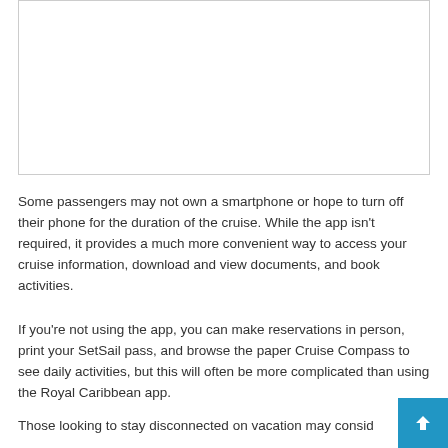[Figure (other): Image placeholder area with a light border — appears to be a photo or screenshot that is cropped/partially visible at the top of the page.]
Some passengers may not own a smartphone or hope to turn off their phone for the duration of the cruise. While the app isn't required, it provides a much more convenient way to access your cruise information, download and view documents, and book activities.
If you're not using the app, you can make reservations in person, print your SetSail pass, and browse the paper Cruise Compass to see daily activities, but this will often be more complicated than using the Royal Caribbean app.
Those looking to stay disconnected on vacation may consid